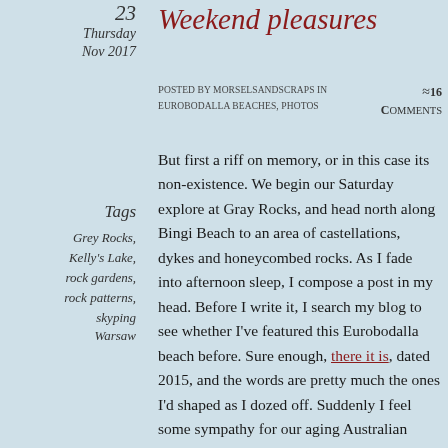23 Thursday Nov 2017
Weekend pleasures
Posted by morselsandscraps in Eurobodalla beaches, photos
≈16 Comments
Tags
Grey Rocks,
Kelly's Lake,
rock gardens,
rock patterns,
skyping Warsaw
But first a riff on memory, or in this case its non-existence. We begin our Saturday explore at Gray Rocks, and head north along Bingi Beach to an area of castellations, dykes and honeycombed rocks. As I fade into afternoon sleep, I compose a post in my head. Before I write it, I search my blog to see whether I've featured this Eurobodalla beach before. Sure enough, there it is, dated 2015, and the words are pretty much the ones I'd shaped as I dozed off. Suddenly I feel some sympathy for our aging Australian history lecturer who gave us the same lecture three days in a row back in the 1960s.